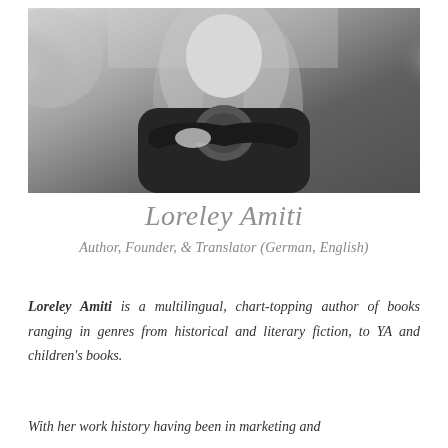[Figure (photo): Black and white portrait photo of a young woman with long blonde hair, arms crossed, wearing a dark jacket and patterned top, outdoors with trees and foliage in the background]
Loreley Amiti
Author, Founder, & Translator (German, English)
Loreley Amiti is a multilingual, chart-topping author of books ranging in genres from historical and literary fiction, to YA and children's books.
With her work history having been in marketing and